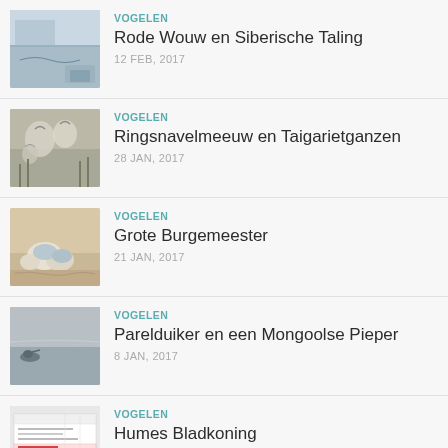VOGELEN | Rode Wouw en Siberische Taling | 12 FEB, 2017
VOGELEN | Ringsnavelmeeuw en Taigarietganzen | 28 JAN, 2017
VOGELEN | Grote Burgemeester | 21 JAN, 2017
VOGELEN | Parelduiker en een Mongoolse Pieper | 8 JAN, 2017
VOGELEN | Humes Bladkoning